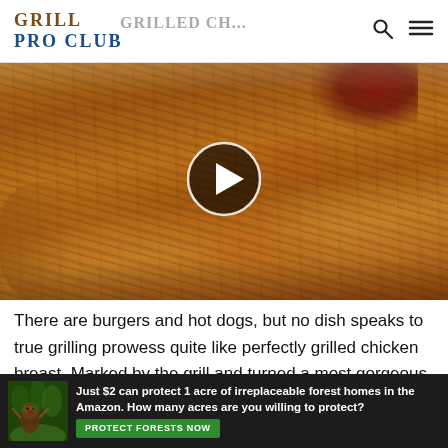GRILL PRO CLUB
[Figure (photo): Grilled chicken breasts on a wooden cutting board with BBQ sauce, video thumbnail with play button overlay]
There are burgers and hot dogs, but no dish speaks to true grilling prowess quite like perfectly grilled chicken breast. Marked by the grill and turned a most gorgeous caramel-colored hue, the very best grilled chicken breast promises to be juicy and tender and as versatile for quick summer meals as a good tomato. Grilled chicken has become so ubiquitous,
[Figure (infographic): Ad banner: Just $2 can protect 1 acre of irreplaceable forest homes in the Amazon. How many acres are you willing to protect? PROTECT FORESTS NOW]